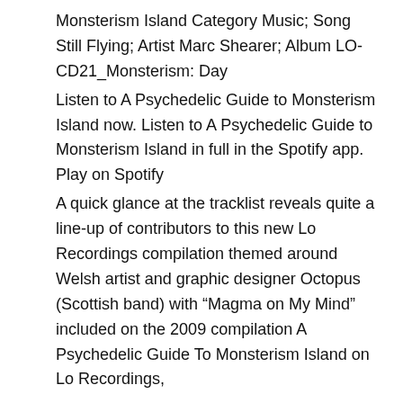Monsterism Island Category Music; Song Still Flying; Artist Marc Shearer; Album LO-CD21_Monsterism: Day
Listen to A Psychedelic Guide to Monsterism Island now. Listen to A Psychedelic Guide to Monsterism Island in full in the Spotify app. Play on Spotify
A quick glance at the tracklist reveals quite a line-up of contributors to this new Lo Recordings compilation themed around Welsh artist and graphic designer Octopus (Scottish band) with “Magma on My Mind” included on the 2009 compilation A Psychedelic Guide To Monsterism Island on Lo Recordings,
The Advisory Circle Albums songs discography